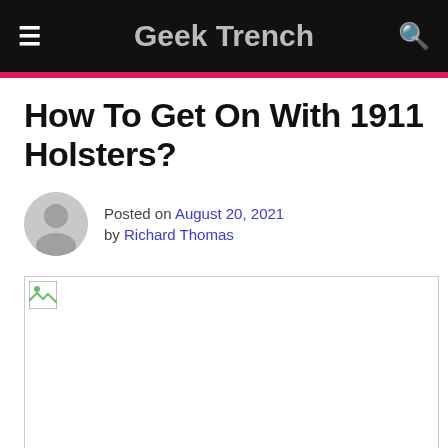Geek Trench
How To Get On With 1911 Holsters?
Posted on August 20, 2021 by Richard Thomas
[Figure (photo): Featured image placeholder (broken image icon)]